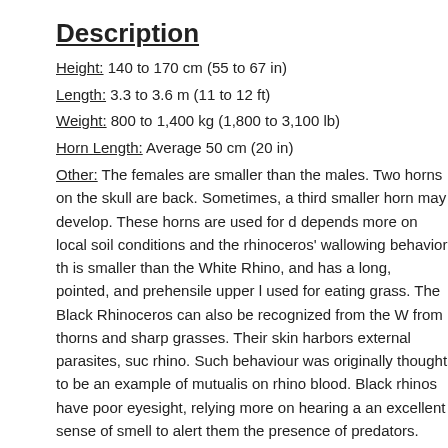Description
Height: 140 to 170 cm (55 to 67 in)
Length: 3.3 to 3.6 m (11 to 12 ft)
Weight: 800 to 1,400 kg (1,800 to 3,100 lb)
Horn Length: Average 50 cm (20 in)
Other: The females are smaller than the males. Two horns on the skull are back. Sometimes, a third smaller horn may develop. These horns are used for depends more on local soil conditions and the rhinoceros' wallowing behavior th is smaller than the White Rhino, and has a long, pointed, and prehensile upper l used for eating grass. The Black Rhinoceros can also be recognized from the W from thorns and sharp grasses. Their skin harbors external parasites, suc rhino. Such behaviour was originally thought to be an example of mutualis on rhino blood. Black rhinos have poor eyesight, relying more on hearing a an excellent sense of smell to alert them the presence of predators.
Behaviour
In the hottest part of the day they are most inactive- resting, sleeping, and and protects against parasites. If mud is not available rhinos will wallow in calves will sometimes congregate in small groups for short periods of time presence of other rhinos. They are not very territorial and often intersect o